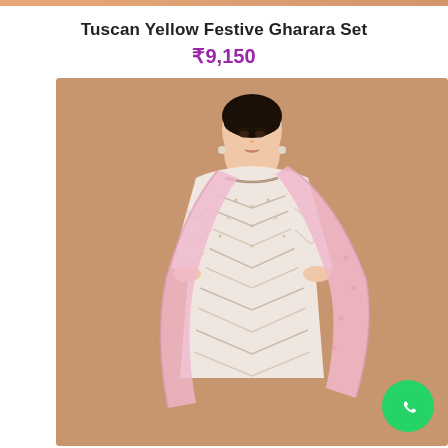Tuscan Yellow Festive Gharara Set
₹9,150
[Figure (photo): A woman wearing a light pink/cream embroidered festive gharara set with chevron sequin pattern and pink dupatta, posed against a tan/caramel background. A green WhatsApp button is visible in the bottom-right corner of the image.]